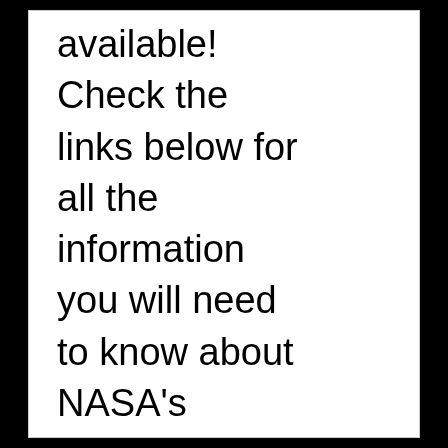System now available! Check the links below for all the information you will need to know about NASA's